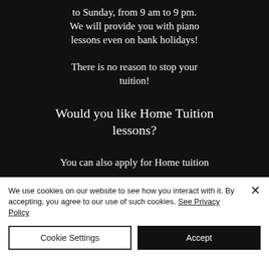to Sunday, from 9 am to 9 pm. We will provide you with piano lessons even on bank holidays!
There is no reason to stop your tuition!
Would you like Home Tuition lessons?
You can also apply for Home tuition
We use cookies on our website to see how you interact with it. By accepting, you agree to our use of such cookies. See Privacy Policy
Cookie Settings
Accept